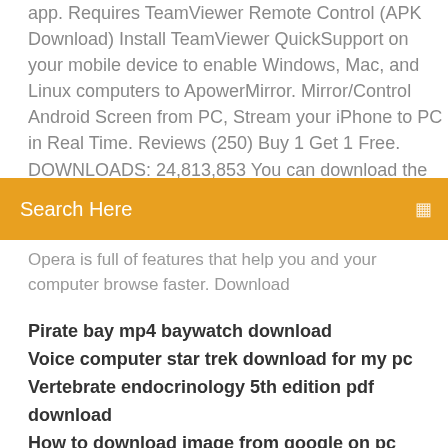app. Requires  TeamViewer Remote Control (APK Download) Install TeamViewer QuickSupport on your mobile device to enable Windows, Mac, and Linux computers to  ApowerMirror. Mirror/Control Android Screen from PC, Stream your iPhone to PC in Real Time. Reviews (250) Buy 1 Get 1 Free. DOWNLOADS: 24,813,853  You can download the iOS version app but it is
Search Here
Opera is full of features that help you and your computer browse faster. Download
Pirate bay mp4 baywatch download
Voice computer star trek download for my pc
Vertebrate endocrinology 5th edition pdf download
How to download image from google on pc
Mobile film download mp4
Download visual paradigm 14.0 cracked full version
Imposters season 2 torrent download
Ds emulator games for android download